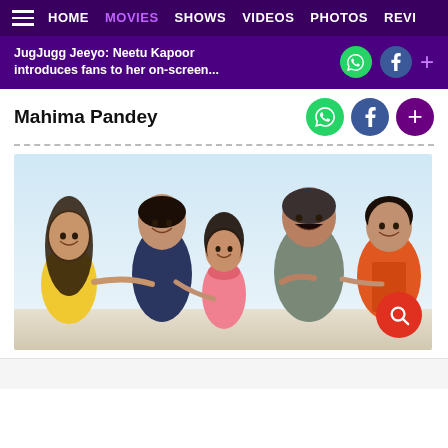HOME  MOVIES  SHOWS  VIDEOS  PHOTOS  REVI
JugJugg Jeeyo: Neetu Kapoor introduces fans to her on-screen...
Mahima Pandey
[Figure (photo): Group photo of five people smiling and laughing together, likely the cast of JugJugg Jeeyo. From left: woman in yellow outfit, tall man in dark shirt, shorter young woman in pink, older man in grey, and woman in orange/ethnic wear on far right.]